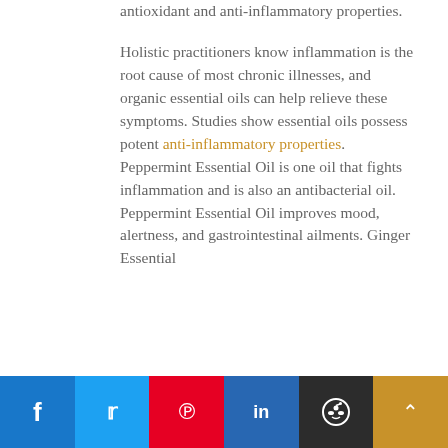antioxidant and anti-inflammatory properties.
Holistic practitioners know inflammation is the root cause of most chronic illnesses, and organic essential oils can help relieve these symptoms. Studies show essential oils possess potent anti-inflammatory properties. Peppermint Essential Oil is one oil that fights inflammation and is also an antibacterial oil. Peppermint Essential Oil improves mood, alertness, and gastrointestinal ailments. Ginger Essential
Social share bar: Facebook, Twitter, Pinterest, LinkedIn, Reddit, Scroll to top